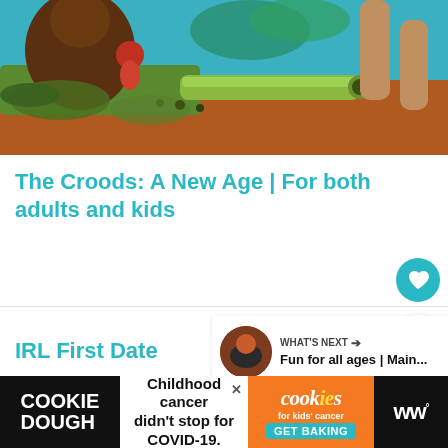[Figure (photo): Screenshot from The Croods: A New Age animated film showing cartoon cave people characters in a colorful prehistoric setting with green plants and blue background]
The Croods: A New Age | For both adults and kids
IRL First Date
WHAT'S NEXT → Fun for all ages | Main...
[Figure (screenshot): Cookie Dough advertisement: Childhood cancer didn't stop for COVID-19. cookies for kids' cancer GET BAKING]